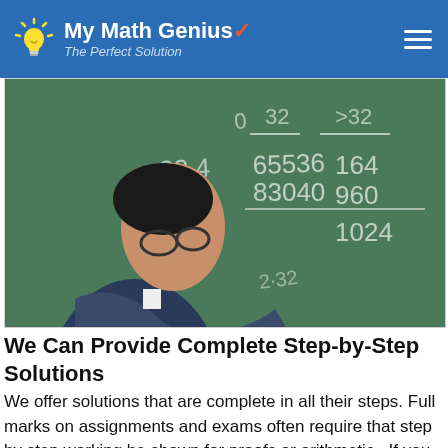My Math Genius — The Perfect Solution
[Figure (photo): A student writing math calculations on a chalkboard, viewed from behind. Numbers visible include 32, 65536, 83040, 164, 960, 1024.]
We Can Provide Complete Step-by-Step Solutions
We offer solutions that are complete in all their steps. Full marks on assignments and exams often require that step by step working be shown for proofs or arithmetic . If you require it, your math genius will give you customized explanations of each step of the question leading to the